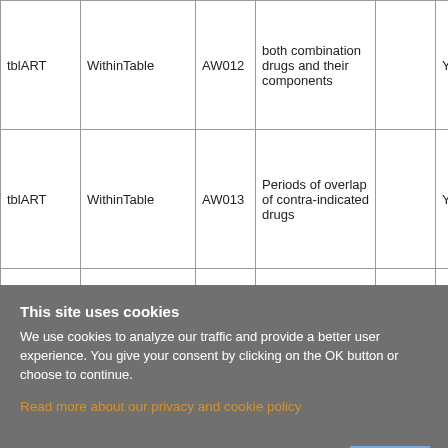| tblART | WithinTable | AW012 | both combination drugs and their components |  | Yes |
| tblART | WithinTable | AW013 | Periods of overlap of contra-indicated drugs |  | Yes |
| tblART | WithinTable | AW014 | Restart of same drug |  | Yes |
This site uses cookies
We use cookies to analyze our traffic and provide a better user experience. You give your consent by clicking on the OK button or choose to continue.
Read more about our privacy and cookie policy
ok